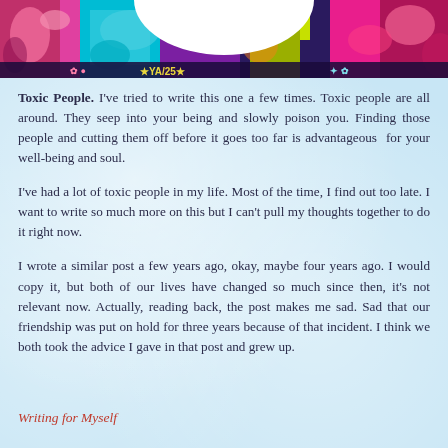[Figure (illustration): Colorful psychedelic/artistic banner image at top of page with vibrant colors including pink, teal, purple, and yellow patterns, with a white speech bubble shape at the top center.]
Toxic People.  I've tried to write this one a few times.  Toxic people are all around.  They seep into your being and slowly poison you.  Finding those people and cutting them off before it goes too far is advantageous  for your well-being and soul.
I've had a lot of toxic people in my life.  Most of the time, I find out too late.  I want to write so much more on this but I can't pull my thoughts together to do it right now.
I wrote a similar post a few years ago, okay, maybe four years ago.  I would copy it, but both of our lives have changed so much since then, it's not relevant now.  Actually, reading back, the post makes me sad.  Sad that our friendship was put on hold for three years because of that incident.  I think we both took the advice I gave in that post and grew up.
Writing for Myself